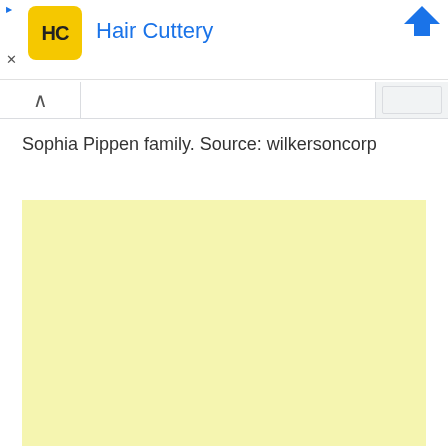[Figure (screenshot): Hair Cuttery advertisement banner with HC logo (yellow rounded square with HC text), blue title 'Hair Cuttery', blue arrow icon top right, play icon and close X on left side]
Sophia Pippen family. Source: wilkersoncorp
[Figure (other): Yellow/cream colored advertisement block placeholder]